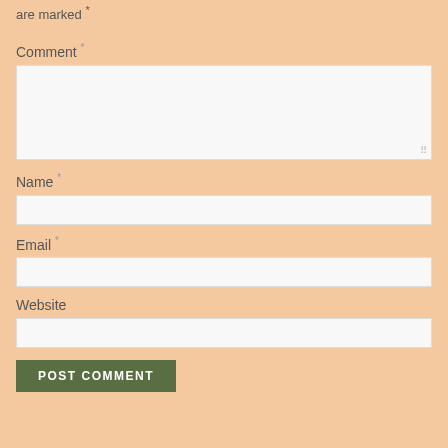are marked *
Comment *
Name *
Email *
Website
POST COMMENT